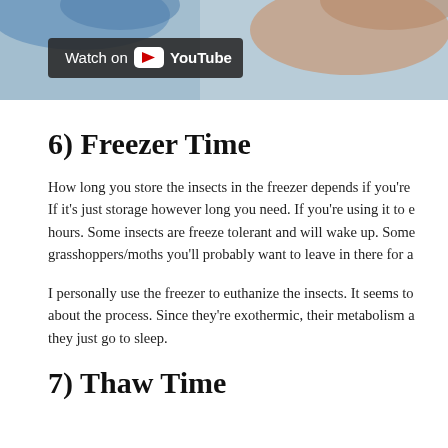[Figure (screenshot): YouTube video thumbnail showing a person in blue gloves handling something, with a 'Watch on YouTube' badge overlay in the lower-left area of the video.]
6) Freezer Time
How long you store the insects in the freezer depends if you're using it to e... If it's just storage however long you need. If you're using it to e... hours. Some insects are freeze tolerant and will wake up. Some grasshoppers/moths you'll probably want to leave in there for a...
I personally use the freezer to euthanize the insects. It seems to... about the process. Since they're exothermic, their metabolism a... they just go to sleep.
7) Thaw Time